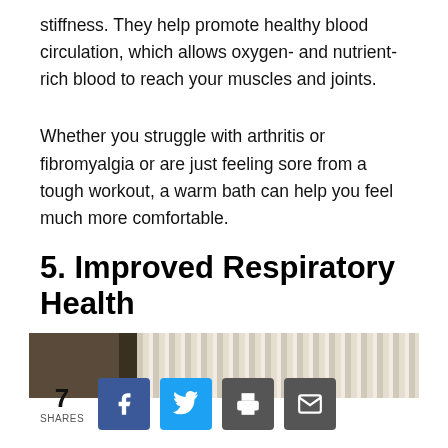stiffness. They help promote healthy blood circulation, which allows oxygen- and nutrient-rich blood to reach your muscles and joints.
Whether you struggle with arthritis or fibromyalgia or are just feeling sore from a tough workout, a warm bath can help you feel much more comfortable.
5. Improved Respiratory Health
[Figure (photo): Partial photo showing a bathroom or wellness environment, cropped at the bottom of the visible area.]
7 SHARES [Facebook] [Twitter] [Print] [Email]